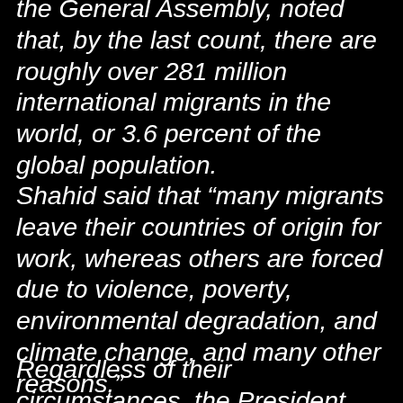the General Assembly, noted that, by the last count, there are roughly over 281 million international migrants in the world, or 3.6 percent of the global population.
Shahid said that “many migrants leave their countries of origin for work, whereas others are forced due to violence, poverty, environmental degradation, and climate change, and many other reasons.”
Regardless of their circumstances, the President said, “the international